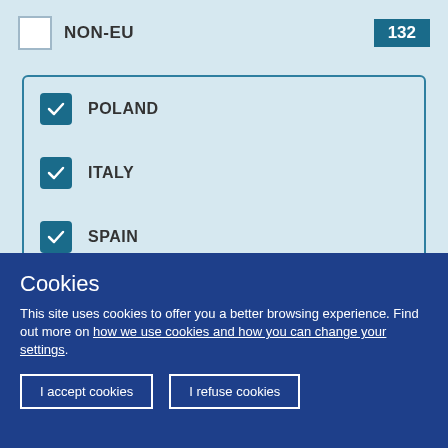NON-EU  132
POLAND
ITALY
SPAIN
FRANCE
GERMANY
SLOVENIA
LITHUANIA
CZECHIA
Cookies
This site uses cookies to offer you a better browsing experience. Find out more on how we use cookies and how you can change your settings.
I accept cookies  |  I refuse cookies